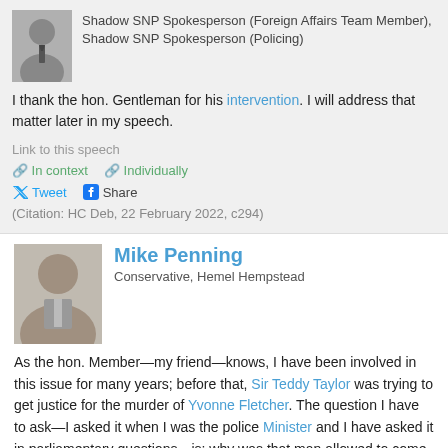[Figure (photo): Headshot photo of SNP spokesperson, man wearing a suit and tie]
Shadow SNP Spokesperson (Foreign Affairs Team Member), Shadow SNP Spokesperson (Policing)
I thank the hon. Gentleman for his intervention. I will address that matter later in my speech.
Link to this speech
In context   Individually
Tweet   Share
(Citation: HC Deb, 22 February 2022, c294)
[Figure (photo): Headshot photo of Mike Penning, older man in grey suit]
Mike Penning
Conservative, Hemel Hempstead
As the hon. Member—my friend—knows, I have been involved in this issue for many years; before that, Sir Teddy Taylor was trying to get justice for the murder of Yvonne Fletcher. The question I have to ask—I asked it when I was the police Minister and I have asked it in parliamentary questions—is: why was that man allowed to come in and out of the country? He was not just a suspect in the Yvonne Fletcher murder but accused of other criminal activities, and yet he walked in and out